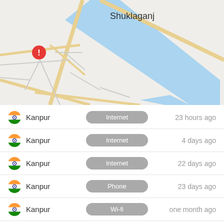[Figure (map): Map showing Shuklaganj area near Kanpur, India with a river (blue), roads (yellow/gray lines), and a red alert/error marker pin on the left side of the map.]
Kanpur | Internet | 23 hours ago
Kanpur | Internet | 4 days ago
Kanpur | Internet | 22 days ago
Kanpur | Phone | 23 days ago
Kanpur | Wi-fi | one month ago
Kanpur | Internet | one month ago